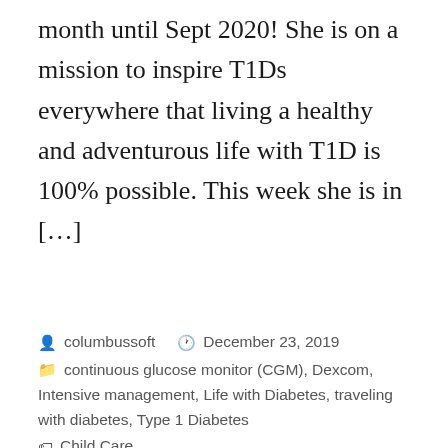month until Sept 2020! She is on a mission to inspire T1Ds everywhere that living a healthy and adventurous life with T1D is 100% possible. This week she is in […]
columbussoft   December 23, 2019   continuous glucose monitor (CGM), Dexcom, Intensive management, Life with Diabetes, traveling with diabetes, Type 1 Diabetes   Child Care